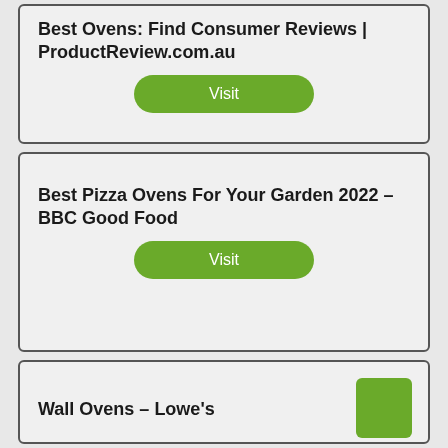Best Ovens: Find Consumer Reviews | ProductReview.com.au
Visit
Best Pizza Ovens For Your Garden 2022 – BBC Good Food
Visit
Wall Ovens – Lowe's
[Figure (other): Green square icon/thumbnail in top-right of third card]